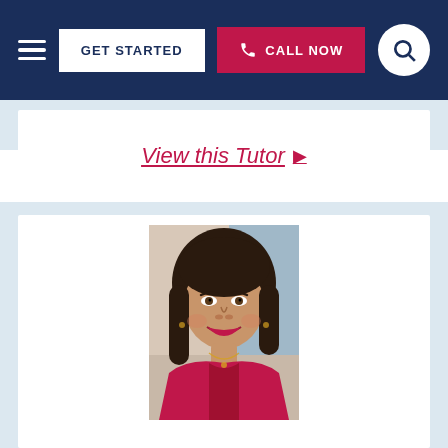GET STARTED | CALL NOW
View this Tutor ▶
[Figure (photo): Portrait photo of a smiling woman with dark hair wearing a red top and necklace, photographed indoors.]